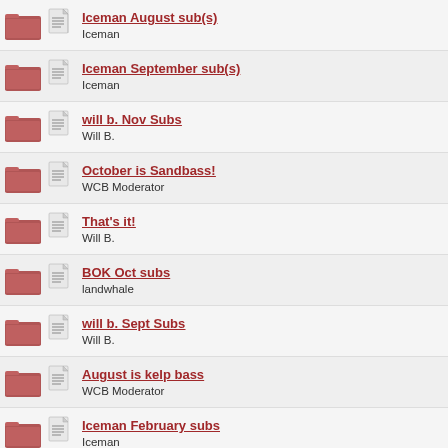Iceman August sub(s)
Iceman
Iceman September sub(s)
Iceman
will b. Nov Subs
Will B.
October is Sandbass!
WCB Moderator
That's it!
Will B.
BOK Oct subs
landwhale
will b. Sept Subs
Will B.
August is kelp bass
WCB Moderator
Iceman February subs
Iceman
Will b. Dec. Subs
Will B.
August Submissions
landwhale
BOK Nov Subs
landwhale